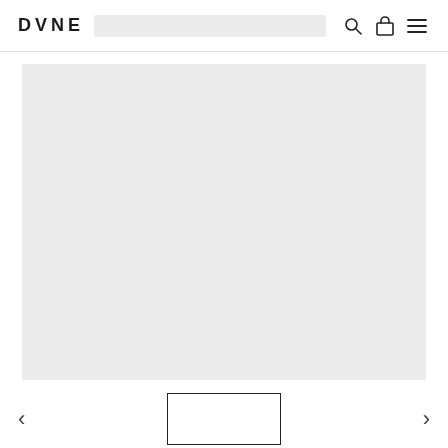DVNE
[Figure (photo): Large light gray product image placeholder area on a white background]
[Figure (photo): Small thumbnail image placeholder with black border outline, part of a thumbnail navigation strip with left and right chevron arrows]